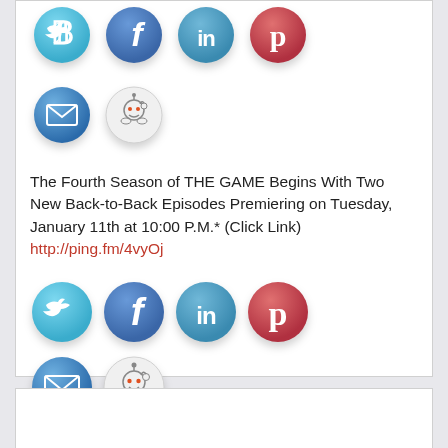[Figure (illustration): Row of social media icons (Twitter, Facebook, LinkedIn, Pinterest) - top partial]
[Figure (illustration): Row of social media icons (Email, Reddit) - top partial]
The Fourth Season of THE GAME Begins With Two New Back-to-Back Episodes Premiering on Tuesday, January 11th at 10:00 P.M.* (Click Link)
http://ping.fm/4vyOj
[Figure (illustration): Row of social media icons (Twitter, Facebook, LinkedIn, Pinterest)]
[Figure (illustration): Row of social media icons (Email, Reddit)]